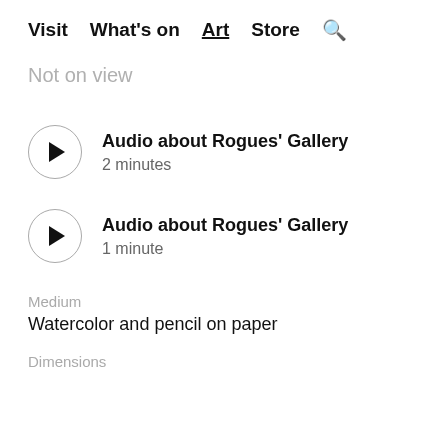Visit  What's on  Art  Store  🔍
Not on view
[Figure (other): Play button circle icon for audio player 1]
Audio about Rogues' Gallery
2 minutes
[Figure (other): Play button circle icon for audio player 2]
Audio about Rogues' Gallery
1 minute
Medium
Watercolor and pencil on paper
Dimensions